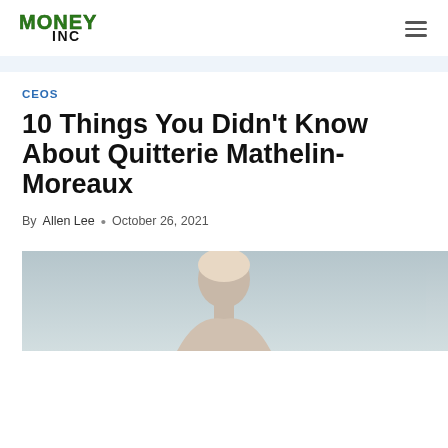Money Inc
CEOS
10 Things You Didn't Know About Quitterie Mathelin-Moreaux
By Allen Lee • October 26, 2021
[Figure (photo): Portrait photo of Quitterie Mathelin-Moreaux, partially visible at the bottom of the page]